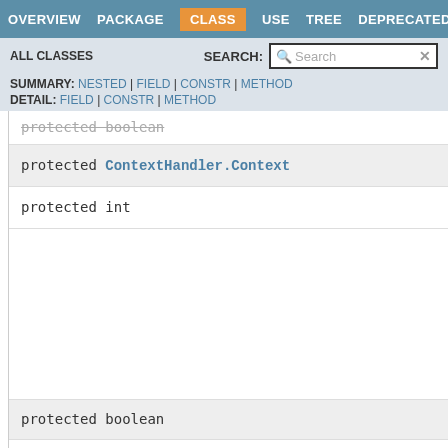OVERVIEW  PACKAGE  CLASS  USE  TREE  DEPRECATED
ALL CLASSES   SEARCH:
SUMMARY: NESTED | FIELD | CONSTR | METHOD  DETAIL: FIELD | CONSTR | METHOD
protected boolean
protected ContextHandler.Context
protected int
protected boolean
protected java.lang.ClassLoader
protected int